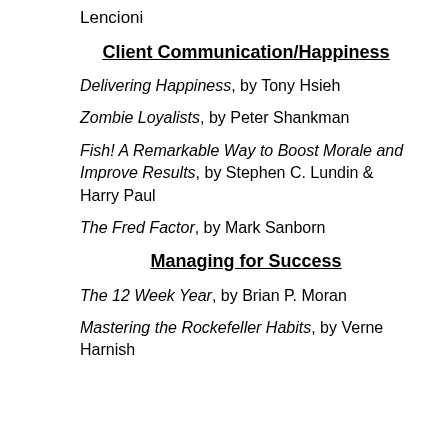Lencioni
Client Communication/Happiness
Delivering Happiness, by Tony Hsieh
Zombie Loyalists, by Peter Shankman
Fish! A Remarkable Way to Boost Morale and Improve Results, by Stephen C. Lundin & Harry Paul
The Fred Factor, by Mark Sanborn
Managing for Success
The 12 Week Year, by Brian P. Moran
Mastering the Rockefeller Habits, by Verne Harnish